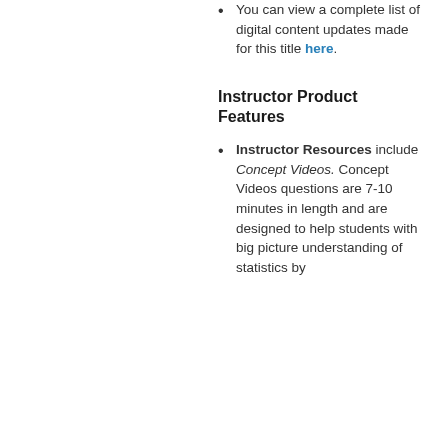You can view a complete list of digital content updates made for this title here.
Instructor Product Features
Instructor Resources include Concept Videos. Concept Videos questions are 7-10 minutes in length and are designed to help students with big picture understanding of statistics by